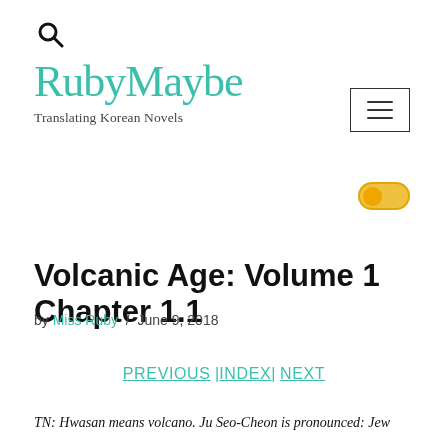[Figure (logo): Search icon (magnifying glass)]
RubyMaybe
Translating Korean Novels
[Figure (other): Hamburger menu icon (three horizontal lines in a rectangle border)]
[Figure (other): Toggle switch in on position with golden/orange color]
Volcanic Age: Volume 1 Chapter 1.1
by Miss Ruby / June 9, 2018
PREVIOUS |INDEX| NEXT
TN: Hwasan means volcano. Ju Seo-Cheon is pronounced: Jew